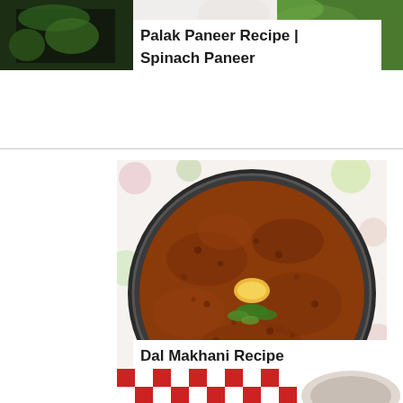[Figure (photo): Top strip of a food photo showing spinach/green herbs and a white bowl — partial view cropped at top of page]
Palak Paneer Recipe | Spinach Paneer
[Figure (photo): Overhead view of Dal Makhani (lentil curry) served in a dark kadai/wok with a pat of butter in the center and a sprig of cilantro, placed on a colorful polka-dot surface]
Dal Makhani Recipe (Restaurant Style)
[Figure (photo): Bottom strip of a food photo showing a red and white checkered cloth and partial view of a dish — cropped at bottom of page]